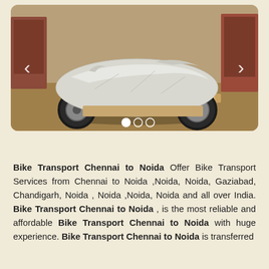[Figure (photo): A motorcycle wrapped in silver/white protective plastic sheeting, photographed outdoors in a dusty yard with trucks visible in the background. The bike is fully covered for transport. Navigation arrows on left and right sides, three pagination dots at the bottom.]
Bike Transport Chennai to Noida Offer Bike Transport Services from Chennai to Noida ,Noida, Noida, Gaziabad, Chandigarh, Noida , Noida ,Noida, Noida and all over India. Bike Transport Chennai to Noida , is the most reliable and affordable Bike Transport Chennai to Noida with huge experience. Bike Transport Chennai to Noida is transferred